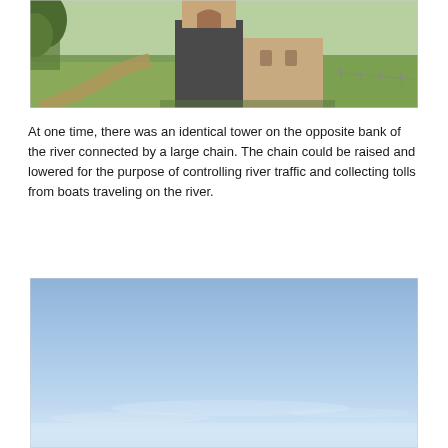[Figure (photo): Photograph of an ancient stone tower on a grassy hillside with trees in the background and a dirt path leading to it. The tower is made of dark stone at its base and lighter brick/stone above, with an arched opening visible.]
At one time, there was an identical tower on the opposite bank of the river connected by a large chain.  The chain could be raised and lowered for the purpose of controlling river traffic and collecting tolls from boats traveling on the river.
[Figure (photo): Photograph showing a mostly clear blue sky with a thin hazy band near the bottom, suggesting an outdoor scene with open sky.]